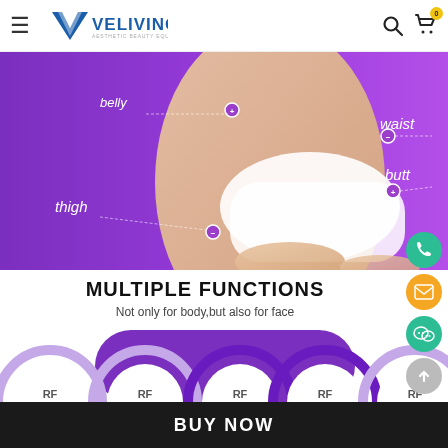Veliving - Aesthetic Beauty Equipment Shop
[Figure (photo): Purple gradient promotional banner showing a woman's torso and legs with body area labels: belly, waist, butt, thigh — with small circular pin markers and connecting lines on a purple/violet background.]
MULTIPLE FUNCTIONS
Not only for body,but also for face
[Figure (infographic): Row of partial circles labeled 'RF' in alternating light purple and dark purple colors, partially cropped at bottom of page.]
BUY NOW